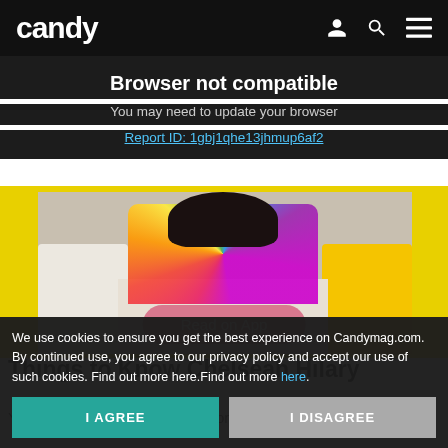candy
Browser not compatible
You may need to update your browser
Report ID: 1gbj1qhe13jhmup6af2
[Figure (photo): Photo of a person sitting on a couch wearing a colorful tie-dye shirt, partially visible, with yellow background border]
Things to Know [Read on App] Chelseah Hilary
You might have met Chelseah, or Seah as her family members
We use cookies to ensure you get the best experience on Candymag.com. By continued use, you agree to our privacy policy and accept our use of such cookies. Find out more here.Find out more here.